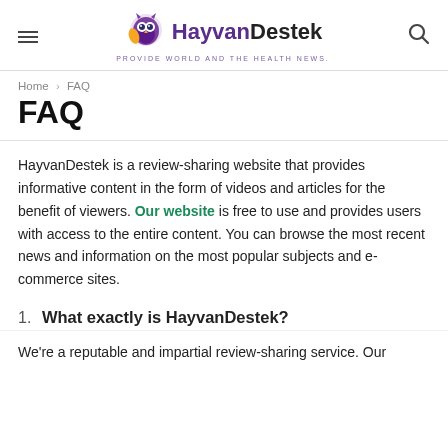HayvanDestek — PROVIDE WORLD AND THE HEALTH NEWS.
Home › FAQ
FAQ
HayvanDestek is a review-sharing website that provides informative content in the form of videos and articles for the benefit of viewers. Our website is free to use and provides users with access to the entire content. You can browse the most recent news and information on the most popular subjects and e-commerce sites.
1. What exactly is HayvanDestek?
We're a reputable and impartial review-sharing service. Our